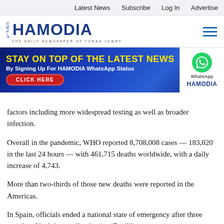Latest News  Subscribe  Log In  Advertise
[Figure (logo): Hamodia newspaper logo with Hebrew text and tagline 'THE DAILY NEWSPAPER OF TORAH JEWRY']
[Figure (infographic): Banner ad: 'STAY ON TOP OF THE LATEST NEWS By Signing Up For HAMODIA WhatsApp Status CLICK HERE' with WhatsApp icon and HAMODIA branding]
factors including more widespread testing as well as broader infection.
Overall in the pandemic, WHO reported 8,708,008 cases — 183,020 in the last 24 hours — with 461,715 deaths worldwide, with a daily increase of 4,743.
More than two-thirds of those new deaths were reported in the Americas.
In Spain, officials ended a national state of emergency after three months of lockdown, allowing its 47 million